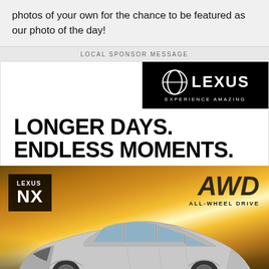photos of your own for the chance to be featured as our photo of the day!
LOCAL SPONSOR MESSAGE
[Figure (illustration): Lexus advertisement. Top section shows the Lexus logo (spindle emblem with LEXUS wordmark) on black background with 'EXPERIENCE AMAZING' tagline. Large bold text reads 'LONGER DAYS. ENDLESS MOMENTS.' Bottom section shows a Lexus NX SUV in silver/white on a golden sunrise landscape. Top-left badge shows 'LEXUS NX' on dark background. Top-right shows 'AWD ALL-WHEEL DRIVE' text.]